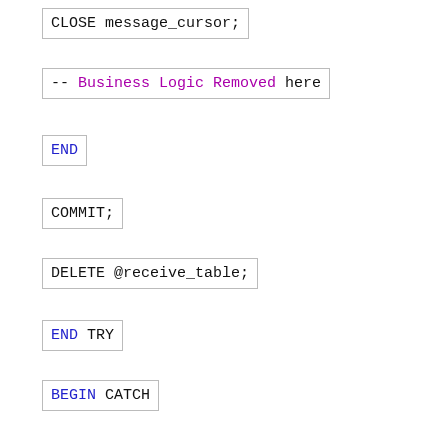CLOSE message_cursor;
-- Business Logic Removed here
END
COMMIT;
DELETE @receive_table;
END TRY
BEGIN CATCH
-- Process the error and exit the proc to give the queue monitor control
SET @error_number = ERROR_NUMBER();